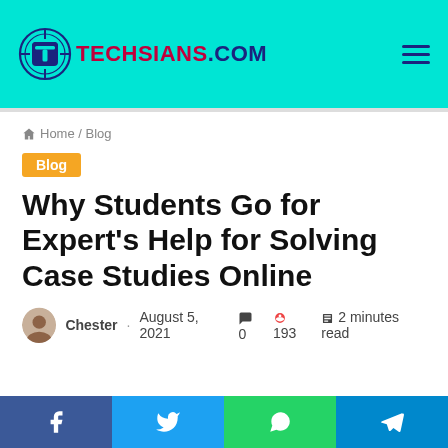TECHSIANS.COM
Home / Blog
Blog
Why Students Go for Expert's Help for Solving Case Studies Online
Chester · August 5, 2021  0  193  2 minutes read
Facebook Twitter WhatsApp Telegram